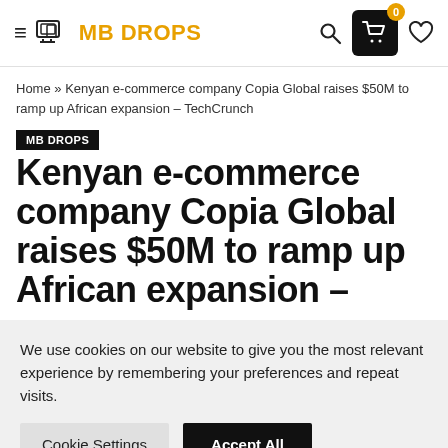MB DROPS — navigation header with logo, search, cart (0), and heart icons
Home » Kenyan e-commerce company Copia Global raises $50M to ramp up African expansion – TechCrunch
MB DROPS
Kenyan e-commerce company Copia Global raises $50M to ramp up African expansion –
We use cookies on our website to give you the most relevant experience by remembering your preferences and repeat visits.
Cookie Settings | Accept All